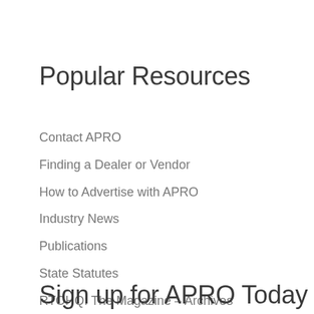Popular Resources
Contact APRO
Finding a Dealer or Vendor
How to Advertise with APRO
Industry News
Publications
State Statutes
RTOHQ: The Magazine – Archives
Member Login
Sign up for APRO Today